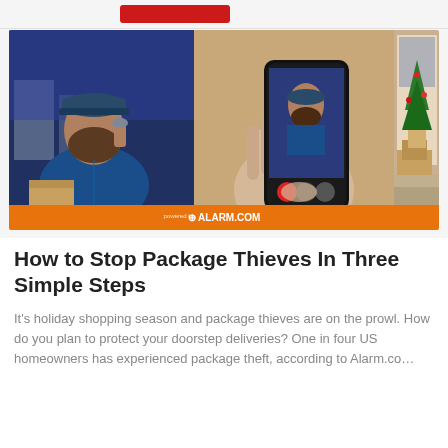[Figure (photo): Composite image showing a bearded man in blue jacket and cap on left, a hand holding a smartphone in the center displaying the man on its screen with doorbell camera UI, and packages on a doorstep near a Christmas tree on the right. Orange banner at bottom reads 'powered by ALARM.COM'.]
How to Stop Package Thieves In Three Simple Steps
It's holiday shopping season and package thieves are on the prowl. How do you plan to protect your doorstep deliveries? One in four US homeowners has experienced package theft, according to Alarm.co…